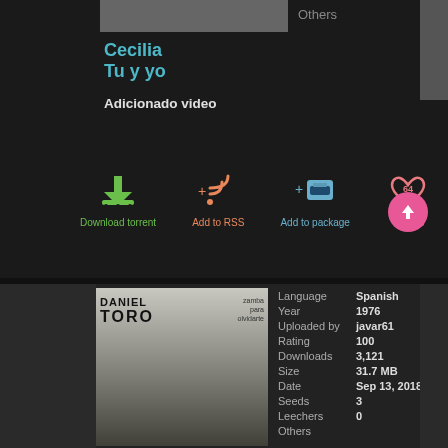Others
Cecilia
Tu y yo
Adicionado video
[Figure (infographic): Download torrent icon (green arrow with tray), Add to RSS icon (orange wifi/rss with plus), Add to package icon (blue box with plus), Thanks icon (pink heart with number 64)]
[Figure (photo): Album cover for Daniel Toro - Zamba para olvidarte (1976), showing a person in traditional clothing with a street lamp]
| Field | Value |
| --- | --- |
| Language | Spanish |
| Year | 1976 |
| Uploaded by | javar61 |
| Rating | 100 |
| Downloads | 3,121 |
| Size | 31.7 MB |
| Date | Sep 13, 2018 |
| Seeds | 3 |
| Leechers | 0 |
| Others |  |